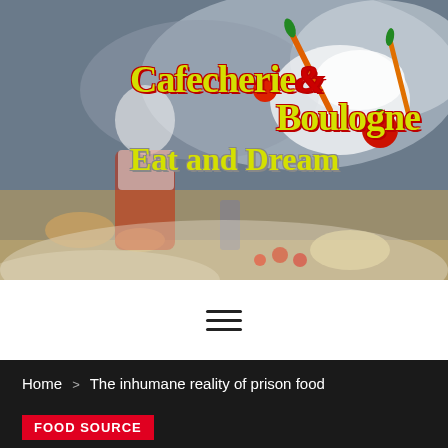[Figure (illustration): Restaurant/cafe header banner image showing a female chef in white top and red apron with vegetables and milk splash flying through the air. Gothic-style yellow text reads 'Cafecherie & Boulogne Eat and Dream' on a dark atmospheric background.]
Cafecherie & Boulogne
Eat and Dream
≡ (hamburger menu icon)
Home > The inhumane reality of prison food
FOOD SOURCE